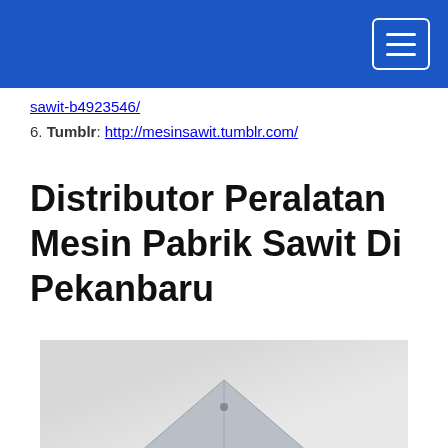sawit-b4923546/
6. Tumblr: http://mesinsawit.tumblr.com/
Distributor Peralatan Mesin Pabrik Sawit Di Pekanbaru
[Figure (photo): Partial view of a building rooftop or triangular structure against a light gray background]